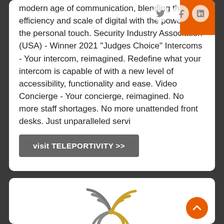modern age of communication, blending the efficiency and scale of digital with the power of the personal touch. Security Industry Association (USA) - Winner 2021 "Judges Choice" Intercoms - Your intercom, reimagined. Redefine what your intercom is capable of with a new level of accessibility, functionality and ease. Video Concierge - Your concierge, reimagined. No more staff shortages. No more unattended front desks. Just unparalleled servi
visit TELEPORTIVITY >>
[Figure (logo): Circular logo with gold and grey concentric arc segments forming a round target-like emblem]